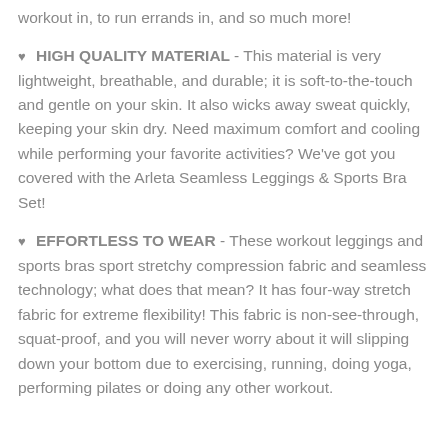workout in, to run errands in, and so much more!
♥  HIGH QUALITY MATERIAL  - This material is very lightweight, breathable, and durable; it is soft-to-the-touch and gentle on your skin. It also wicks away sweat quickly, keeping your skin dry. Need maximum comfort and cooling while performing your favorite activities? We've got you covered with the Arleta Seamless Leggings & Sports Bra Set!
♥  EFFORTLESS TO WEAR  - These workout leggings and sports bras sport stretchy compression fabric and seamless technology; what does that mean? It has four-way stretch fabric for extreme flexibility! This fabric is non-see-through, squat-proof, and you will never worry about it will slipping down your bottom due to exercising, running, doing yoga, performing pilates or doing any other workout.